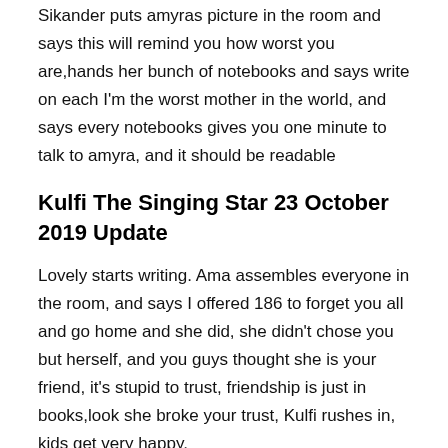Sikander puts amyras picture in the room and says this will remind you how worst you are,hands her bunch of notebooks and says write on each I'm the worst mother in the world, and says every notebooks gives you one minute to talk to amyra, and it should be readable
Kulfi The Singing Star 23 October 2019 Update
Lovely starts writing. Ama assembles everyone in the room, and says I offered 186 to forget you all and go home and she did, she didn't chose you but herself, and you guys thought she is your friend, it's stupid to trust, friendship is just in books,look she broke your trust, Kulfi rushes in, kids get very happy.